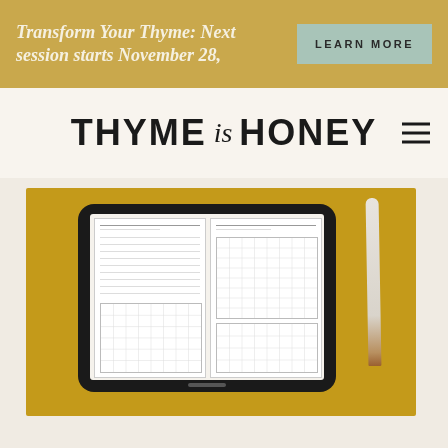Transform Your Thyme: Next session starts November 28,
LEARN MORE
THYME is HONEY
[Figure (photo): A tablet device displaying a digital planner with grid pages, resting on a golden/mustard yellow background with a stylus pencil beside it.]